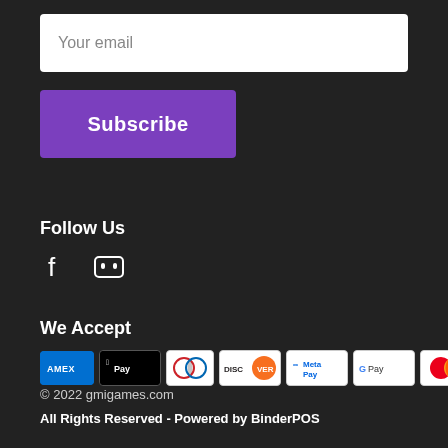Your email
Subscribe
Follow Us
[Figure (illustration): Facebook and Discord social media icons]
We Accept
[Figure (illustration): Payment method icons: AMEX, Apple Pay, Diners Club, Discover, Meta Pay, Google Pay, Mastercard, OPay, Visa]
© 2022 gmigames.com
All Rights Reserved - Powered by BinderPOS